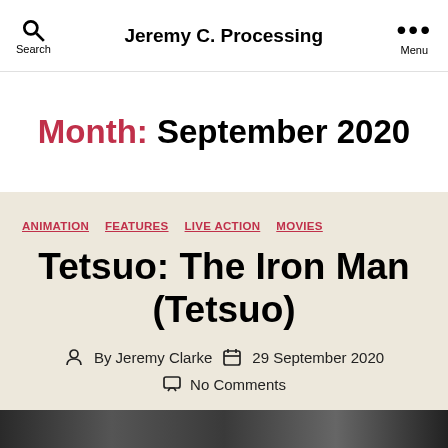Jeremy C. Processing
Month: September 2020
ANIMATION  FEATURES  LIVE ACTION  MOVIES
Tetsuo: The Iron Man (Tetsuo)
By Jeremy Clarke  29 September 2020  No Comments
[Figure (photo): Bottom image strip, partially visible photo]